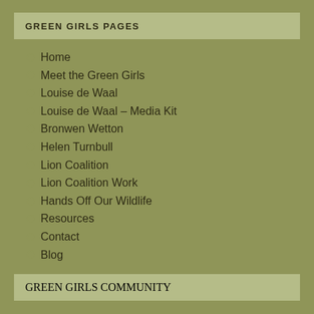GREEN GIRLS PAGES
Home
Meet the Green Girls
Louise de Waal
Louise de Waal – Media Kit
Bronwen Wetton
Helen Turnbull
Lion Coalition
Lion Coalition Work
Hands Off Our Wildlife
Resources
Contact
Blog
GREEN GIRLS COMMUNITY